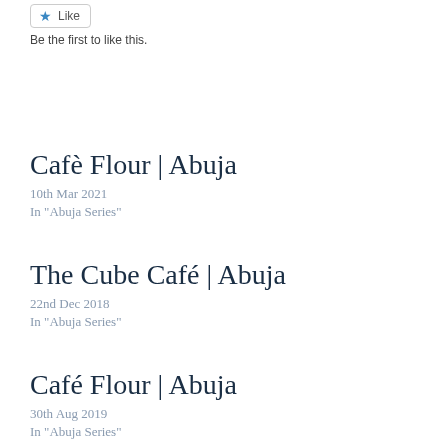[Figure (other): Like button with blue star icon and text 'Like']
Be the first to like this.
Cafè Flour | Abuja
10th Mar 2021
In "Abuja Series"
The Cube Café | Abuja
22nd Dec 2018
In "Abuja Series"
Café Flour | Abuja
30th Aug 2019
In "Abuja Series"